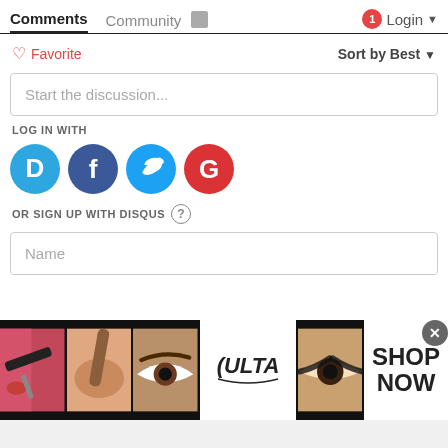Comments  Community  Login
♡ Favorite    Sort by Best ▾
Start the discussion...
LOG IN WITH
[Figure (logo): Social login icons: Disqus (D), Facebook (f), Twitter bird, Google (G) circles]
OR SIGN UP WITH DISQUS ?
Name
[Figure (infographic): Ulta Beauty advertisement banner with makeup photos and SHOP NOW text]